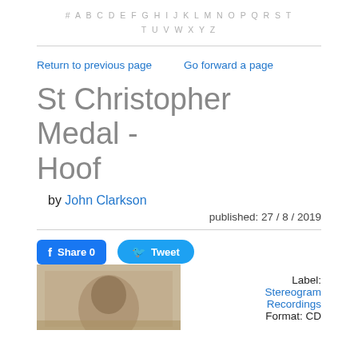# A B C D E F G H I J K L M N O P Q R S T U V W X Y Z
Return to previous page    Go forward a page
St Christopher Medal - Hoof
by John Clarkson
published: 27 / 8 / 2019
Share 0   Tweet
Label: Stereogram Recordings
Format: CD
[Figure (photo): Album cover image, sepia-toned photograph]